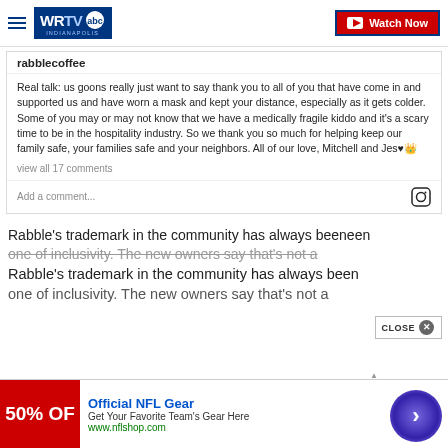WRTV Indianapolis — Watch Now
rabblecoffee
Real talk: us goons really just want to say thank you to all of you that have come in and supported us and have worn a mask and kept your distance, especially as it gets colder. Some of you may or may not know that we have a medically fragile kiddo and it's a scary time to be in the hospitality industry. So we thank you so much for helping keep our family safe, your families safe and your neighbors. All of our love, Mitchell and Jes♥👑
view all 17 comments
Add a comment...
Rabble's trademark in the community has always been one of inclusivity. The new owners say that's not a
Official NFL Gear
Get Your Favorite Team's Gear Here
www.nflshop.com